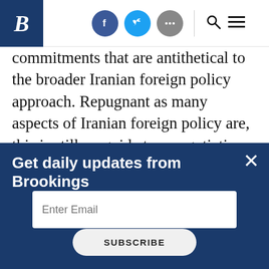Brookings Institution header with logo, social icons (Facebook, Twitter, more), search and menu
commitments that are antithetical to the broader Iranian foreign policy approach. Repugnant as many aspects of Iranian foreign policy are, this is still no guide to a negotiation with representatives of the Iranian government. By demanding that these issues be resolved in negotiations, Netanyahu is— in effect —arguing that, unless Iran promises regime change in the future, there can be no deal.
Get daily updates from Brookings
Enter Email
SUBSCRIBE